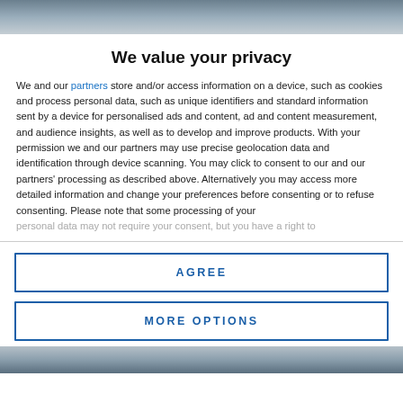[Figure (photo): Partial photo visible at top of page, cropped]
We value your privacy
We and our partners store and/or access information on a device, such as cookies and process personal data, such as unique identifiers and standard information sent by a device for personalised ads and content, ad and content measurement, and audience insights, as well as to develop and improve products. With your permission we and our partners may use precise geolocation data and identification through device scanning. You may click to consent to our and our partners' processing as described above. Alternatively you may access more detailed information and change your preferences before consenting or to refuse consenting. Please note that some processing of your personal data may not require your consent, but you have a right to
AGREE
MORE OPTIONS
[Figure (photo): Partial photo visible at bottom of page, cropped]